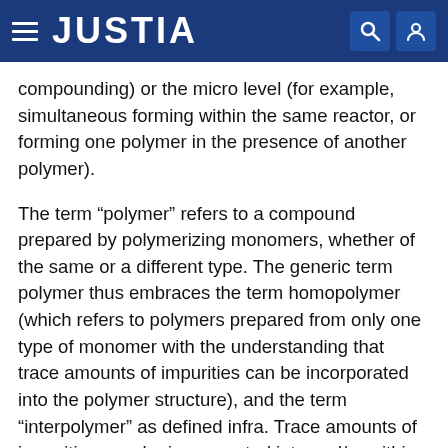JUSTIA
compounding) or the micro level (for example, simultaneous forming within the same reactor, or forming one polymer in the presence of another polymer).
The term “polymer” refers to a compound prepared by polymerizing monomers, whether of the same or a different type. The generic term polymer thus embraces the term homopolymer (which refers to polymers prepared from only one type of monomer with the understanding that trace amounts of impurities can be incorporated into the polymer structure), and the term “interpolymer” as defined infra. Trace amounts of impurities may be incorporated into and/or within a polymer.
The term “interpolymer” refers to polymers prepared by the polymerization of at least two different types of